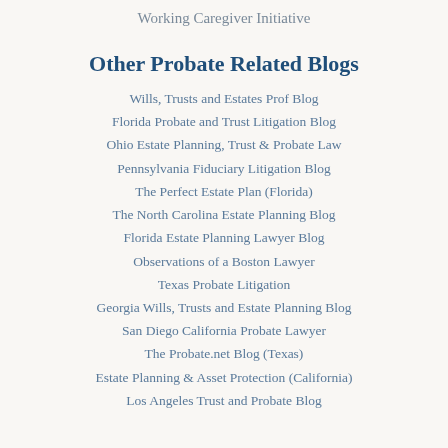Working Caregiver Initiative
Other Probate Related Blogs
Wills, Trusts and Estates Prof Blog
Florida Probate and Trust Litigation Blog
Ohio Estate Planning, Trust & Probate Law
Pennsylvania Fiduciary Litigation Blog
The Perfect Estate Plan (Florida)
The North Carolina Estate Planning Blog
Florida Estate Planning Lawyer Blog
Observations of a Boston Lawyer
Texas Probate Litigation
Georgia Wills, Trusts and Estate Planning Blog
San Diego California Probate Lawyer
The Probate.net Blog (Texas)
Estate Planning & Asset Protection (California)
Los Angeles Trust and Probate Blog